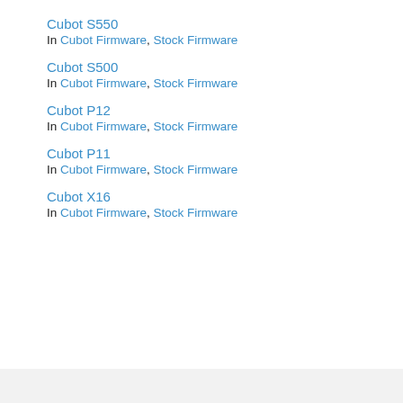Cubot S550
In Cubot Firmware, Stock Firmware
Cubot S500
In Cubot Firmware, Stock Firmware
Cubot P12
In Cubot Firmware, Stock Firmware
Cubot P11
In Cubot Firmware, Stock Firmware
Cubot X16
In Cubot Firmware, Stock Firmware